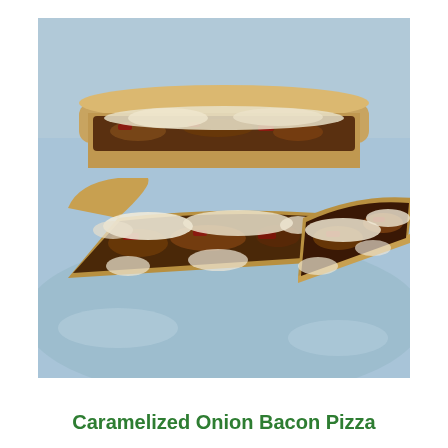[Figure (photo): Close-up photo of slices of Caramelized Onion Bacon Pizza on a blue plate. The pizza slices show melted white cheese over dark caramelized onions and bacon on a golden-brown crust.]
Caramelized Onion Bacon Pizza